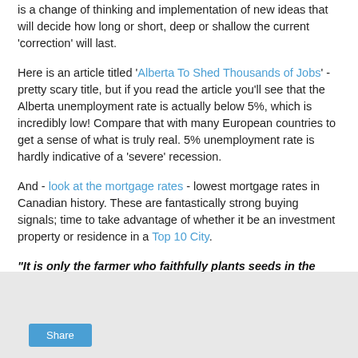is a change of thinking and implementation of new ideas that will decide how long or short, deep or shallow the current 'correction' will last.
Here is an article titled 'Alberta To Shed Thousands of Jobs' - pretty scary title, but if you read the article you'll see that the Alberta unemployment rate is actually below 5%, which is incredibly low! Compare that with many European countries to get a sense of what is truly real. 5% unemployment rate is hardly indicative of a 'severe' recession.
And - look at the mortgage rates - lowest mortgage rates in Canadian history. These are fantastically strong buying signals; time to take advantage of whether it be an investment property or residence in a Top 10 City.
"It is only the farmer who faithfully plants seeds in the Spring, who reaps a harvest in the Autumn." -BC Forbes
[Figure (other): Gray box at the bottom of the page with a blue Share button]